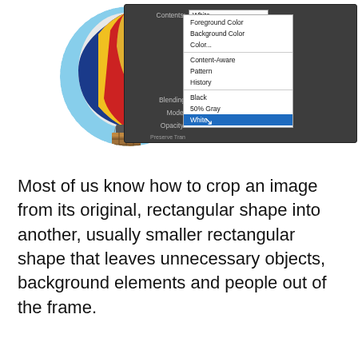[Figure (screenshot): Photoshop screenshot showing a hot air balloon image cropped into a circular selection with a dashed border on a white/grey checkerboard background. A Fill dialog is open with a dropdown menu showing options: Foreground Color, Background Color, Color..., Content-Aware, Pattern, History, Black, 50% Gray, White (highlighted/selected in blue). Buttons OK and Cancel are visible on the right.]
Most of us know how to crop an image from its original, rectangular shape into another, usually smaller rectangular shape that leaves unnecessary objects, background elements and people out of the frame.